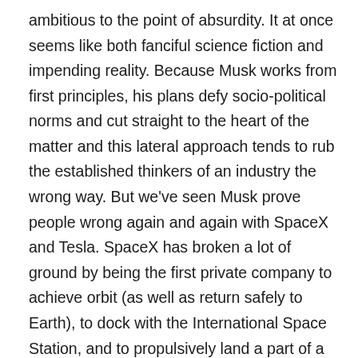ambitious to the point of absurdity. It at once seems like both fanciful science fiction and impending reality. Because Musk works from first principles, his plans defy socio-political norms and cut straight to the heart of the matter and this lateral approach tends to rub the established thinkers of an industry the wrong way. But we've seen Musk prove people wrong again and again with SpaceX and Tesla. SpaceX has broken a lot of ground by being the first private company to achieve orbit (as well as return safely to Earth), to dock with the International Space Station, and to propulsively land a part of a rocket from an orbital launch. That last one is particularly important, since it was sheer engineering bravado that allowed them to stand in the face of ridicule from established aerospace figureheads. SpaceX is going to need that same sort of moxie in spades if they are going